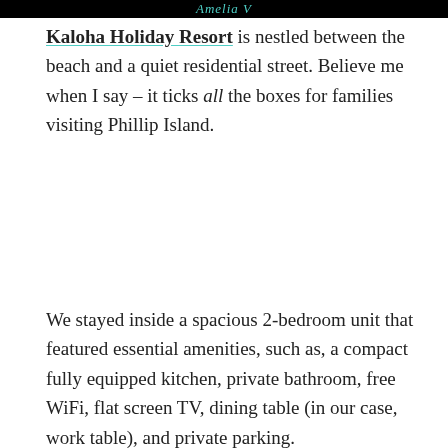Amelia V
Kaloha Holiday Resort is nestled between the beach and a quiet residential street. Believe me when I say – it ticks all the boxes for families visiting Phillip Island.
We stayed inside a spacious 2-bedroom unit that featured essential amenities, such as, a compact fully equipped kitchen, private bathroom, free WiFi, flat screen TV, dining table (in our case, work table), and private parking.
[Figure (photo): Exterior photo of Kaloha Holiday Resort building with trees in background, plus a geometric hexagon pattern section below]